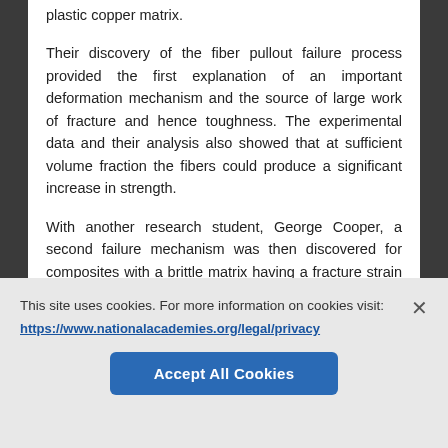plastic copper matrix.
Their discovery of the fiber pullout failure process provided the first explanation of an important deformation mechanism and the source of large work of fracture and hence toughness. The experimental data and their analysis also showed that at sufficient volume fraction the fibers could produce a significant increase in strength.
With another research student, George Cooper, a second failure mechanism was then discovered for composites with a brittle matrix having a fracture strain less
This site uses cookies. For more information on cookies visit:
https://www.nationalacademies.org/legal/privacy
Accept All Cookies